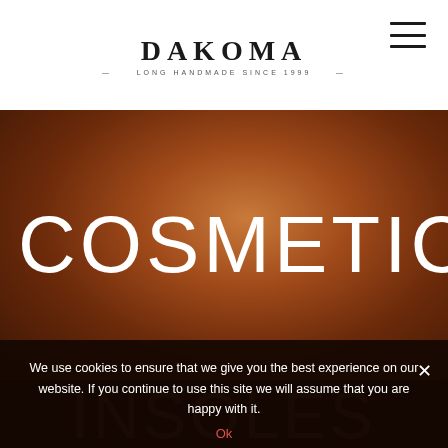[Figure (logo): DAKOMA brand logo with tagline text below in serif font]
COSMETICS
We use cookies to ensure that we give you the best experience on our website. If you continue to use this site we will assume that you are happy with it.
Ok
INSOLES